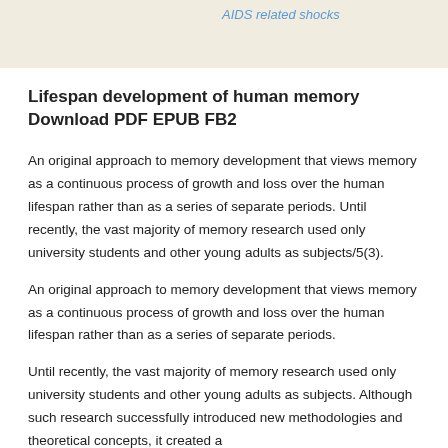AIDS related shocks
Lifespan development of human memory Download PDF EPUB FB2
An original approach to memory development that views memory as a continuous process of growth and loss over the human lifespan rather than as a series of separate periods. Until recently, the vast majority of memory research used only university students and other young adults as subjects/5(3).
An original approach to memory development that views memory as a continuous process of growth and loss over the human lifespan rather than as a series of separate periods.
Until recently, the vast majority of memory research used only university students and other young adults as subjects. Although such research successfully introduced new methodologies and theoretical concepts, it created a